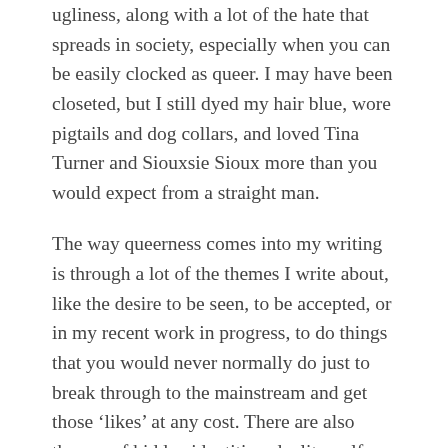ugliness, along with a lot of the hate that spreads in society, especially when you can be easily clocked as queer. I may have been closeted, but I still dyed my hair blue, wore pigtails and dog collars, and loved Tina Turner and Siouxsie Sioux more than you would expect from a straight man.
The way queerness comes into my writing is through a lot of the themes I write about, like the desire to be seen, to be accepted, or in my recent work in progress, to do things that you would never normally do just to break through to the mainstream and get those ‘likes’ at any cost. There are also themes of hidden identities, duality, self-destruction, transformation, anger, resentment, and revenge which can be pretty common in queer horror. It’s not always at the forefront, but it’s always there however it becomes refined over time.